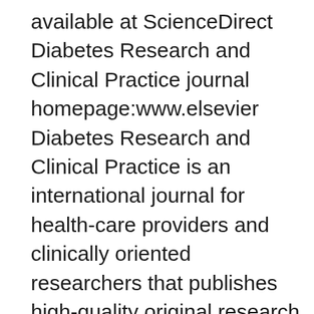available at ScienceDirect Diabetes Research and Clinical Practice journal homepage:www.elsevier Diabetes Research and Clinical Practice is an international journal for health-care providers and clinically oriented researchers that publishes high-quality original research articles and expert reviews in diabetes and related areas. Lund OsteoArthritis Division - Clinical Epidemiology Unit Lund OsteoArthritis Division - From molecule to clinical implementation Lund OsteoArthritis Division - Höftsjukdomar från vaggan till protesen Lund Clinical Research on Externalizing and Developmental psychopathology (LU-CRED) Request PDF | On Dec 4, 2020, Ricardo Rodrigues and others published 2018 Diabetes Research and Clinical Practice | Find, read and cite all the research you need on ResearchGate Article 2018